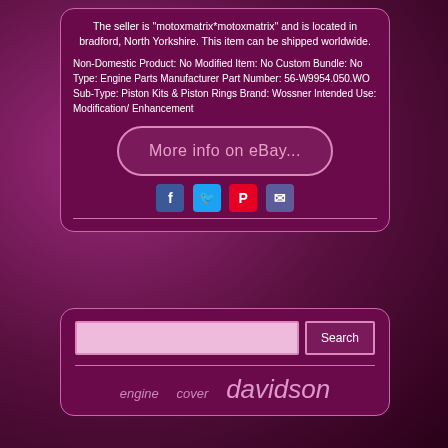The seller is "motoxmatrix*motoxmatrix" and is located in bradford, North Yorkshire. This item can be shipped worldwide.
Non-Domestic Product: No Modified Item: No Custom Bundle: No Type: Engine Parts Manufacturer Part Number: 56-W9954.050.WO Sub-Type: Piston Kits & Piston Rings Brand: Wossner Intended Use: Modification/ Enhancement
[Figure (screenshot): Button with rounded rectangle border and text 'More info on eBay...']
[Figure (infographic): Social sharing icons: Facebook, Twitter, Pinterest, Email]
Search input field with Search button
engine   cover   davidson